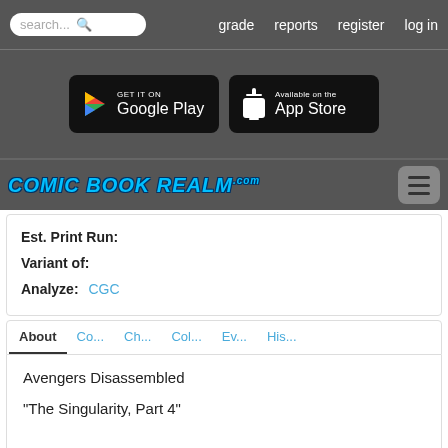search... grade reports register log in
[Figure (logo): Google Play store badge and Apple App Store badge on dark background]
[Figure (logo): Comic Book Realm logo with hamburger menu button]
Est. Print Run:
Variant of:
Analyze: CGC
About Co... Ch... Col... Ev... His...
Avengers Disassembled
"The Singularity, Part 4"